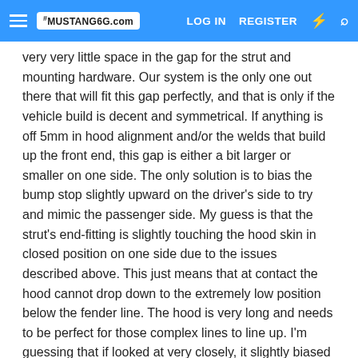MUSTANG6G.com  LOG IN  REGISTER
very very little space in the gap for the strut and mounting hardware. Our system is the only one out there that will fit this gap perfectly, and that is only if the vehicle build is decent and symmetrical. If anything is off 5mm in hood alignment and/or the welds that build up the front end, this gap is either a bit larger or smaller on one side. The only solution is to bias the bump stop slightly upward on the driver's side to try and mimic the passenger side. My guess is that the strut's end-fitting is slightly touching the hood skin in closed position on one side due to the issues described above. This just means that at contact the hood cannot drop down to the extremely low position below the fender line. The hood is very long and needs to be perfect for those complex lines to line up. I'm guessing that if looked at very closely, it slightly biased to one side, the hinge assembly is 1-2mm forward on one side, or a combination of very small things that add up over that distance.
From the photos I cannot tell much, not your fault just hard